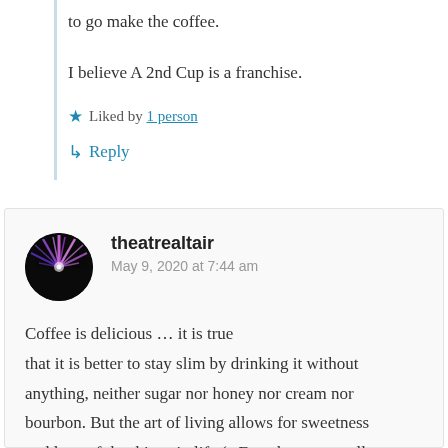to go make the coffee.
I believe A 2nd Cup is a franchise.
★ Liked by 1 person
↳ Reply
theatrealtair
May 9, 2020 at 7:44 am
Coffee is delicious … it is true that it is better to stay slim by drinking it without anything, neither sugar nor honey nor cream nor bourbon. But the art of living allows for sweetness and love of the things in life (a French woman tells